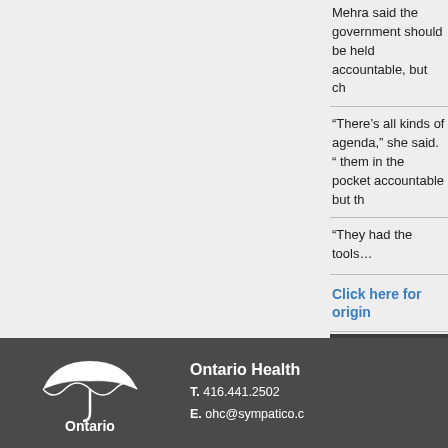Mehra said the gov... accountable, but ch...
“There’s all kinds of... agenda,” she said. “... them in the pocket... accountable but th...
“They had the tools...
Click here for origin...
OHC Events
View the OHC Events Calendar
[Figure (logo): Ontario Health Coalition umbrella logo with text 'Ontario' below in white on dark grey background]
Ontario Health
T. 416.441.2502
E. ohc@sympatico.c...